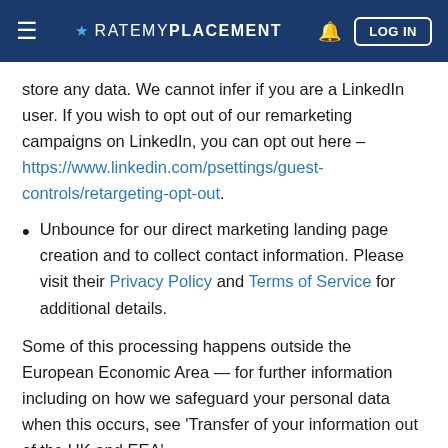≡ ★ RATEMYPLACEMENT 🔔 LOG IN
store any data. We cannot infer if you are a LinkedIn user. If you wish to opt out of our remarketing campaigns on LinkedIn, you can opt out here – https://www.linkedin.com/psettings/guest-controls/retargeting-opt-out.
Unbounce for our direct marketing landing page creation and to collect contact information. Please visit their Privacy Policy and Terms of Service for additional details.
Some of this processing happens outside the European Economic Area — for further information including on how we safeguard your personal data when this occurs, see 'Transfer of your information out of the UK and EEA'.
We will base your personal information with base of